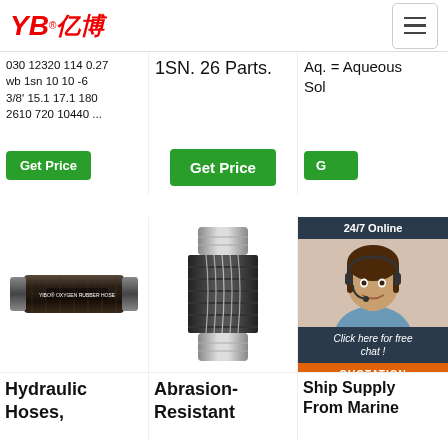YB亿博 logo and navigation bar
030 12320 114 0.27 wb 1sn 10 10 -6 3/8' 15.1 17.1 180 2610 720 10440 ...
1SN. 26 Parts.
Aq. = Aqueous Sol
[Figure (photo): Green Get Price button (left column)]
[Figure (photo): Green Get Price button (center column)]
[Figure (photo): Online customer service agent chat widget with 24/7 Online header, agent photo, Click here for free chat, QUOTATION button]
[Figure (photo): YIBO oxygen rubber hose product photo]
[Figure (photo): Abrasion-resistant hose closeup photo]
[Figure (photo): Ship supply marine hose photo with TOP text overlay]
Hydraulic Hoses,
Abrasion-Resistant
Ship Supply From Marine